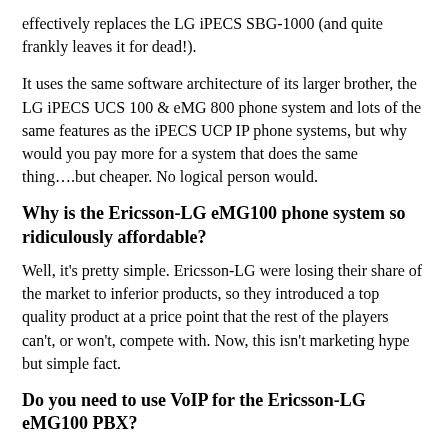effectively replaces the LG iPECS SBG-1000 (and quite frankly leaves it for dead!).
It uses the same software architecture of its larger brother, the LG iPECS UCS 100 & eMG 800 phone system and lots of the same features as the iPECS UCP IP phone systems, but why would you pay more for a system that does the same thing….but cheaper. No logical person would.
Why is the Ericsson-LG eMG100 phone system so ridiculously affordable?
Well, it's pretty simple. Ericsson-LG were losing their share of the market to inferior products, so they introduced a top quality product at a price point that the rest of the players can't, or won't, compete with. Now, this isn't marketing hype but simple fact.
Do you need to use VoIP for the Ericsson-LG eMG100 PBX?
No. One of the great things about the iPECS eMG100 phone system is its designed to work with old-fashioned PSTN phone lines (PSTN or ISDN2 and even incredibly ISDN 10/ 20 and 30) as well as the latest SIP technology (for unbelievably cheap VoIP